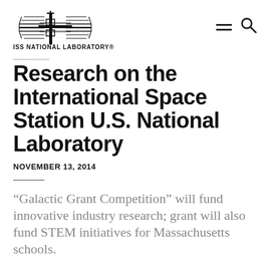[Figure (logo): ISS National Laboratory logo with stylized space station graphic and text 'ISS NATIONAL LABORATORY']
Research on the International Space Station U.S. National Laboratory
NOVEMBER 13, 2014
“Galactic Grant Competition” will fund innovative industry research; grant will also fund STEM initiatives for Massachusetts schools.